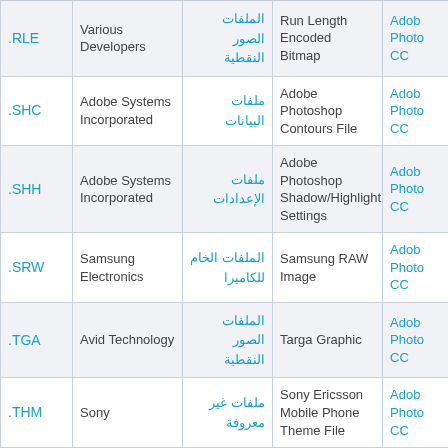| Extension | Developer | Arabic Category | Description | Application |
| --- | --- | --- | --- | --- |
| .RLE | Various Developers | الملفات الصور النقطية | Run Length Encoded Bitmap | Adobe Photoshop CC |
| .SHC | Adobe Systems Incorporated | ملفات البيانات | Adobe Photoshop Contours File | Adobe Photoshop CC |
| .SHH | Adobe Systems Incorporated | ملفات الإعدادات | Adobe Photoshop Shadow/Highlight Settings | Adobe Photoshop CC |
| .SRW | Samsung Electronics | الملفات الخام للكاميرا | Samsung RAW Image | Adobe Photoshop CC |
| .TGA | Avid Technology | الملفات الصور النقطية | Targa Graphic | Adobe Photoshop CC |
| .THM | Sony | ملفات غير معروفة | Sony Ericsson Mobile Phone Theme File | Adobe Photoshop CC |